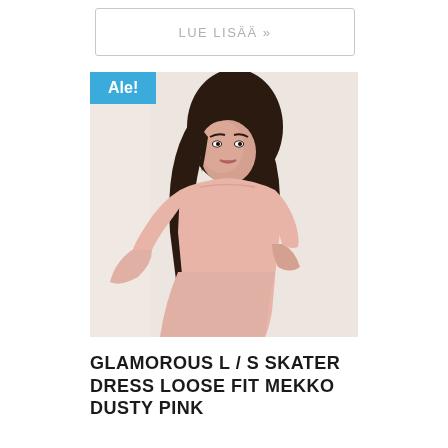LUE LISÄÄ »
[Figure (photo): Woman wearing a dusty pink long-sleeve skater dress with flared cuffs, posed against a light background. An 'Ale!' (sale) badge is shown in the top-left corner of the image.]
GLAMOROUS L / S SKATER DRESS LOOSE FIT MEKKO DUSTY PINK